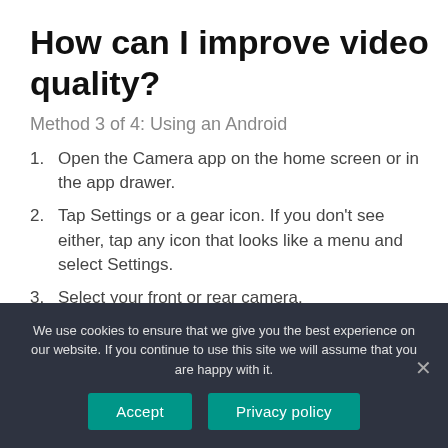How can I improve video quality?
Method 3 of 4: Using an Android
Open the Camera app on the home screen or in the app drawer.
Tap Settings or a gear icon. If you don't see either, tap any icon that looks like a menu and select Settings.
Select your front or rear camera.
Select a higher resolution.
How do I sharpen a blurry picture
We use cookies to ensure that we give you the best experience on our website. If you continue to use this site we will assume that you are happy with it.